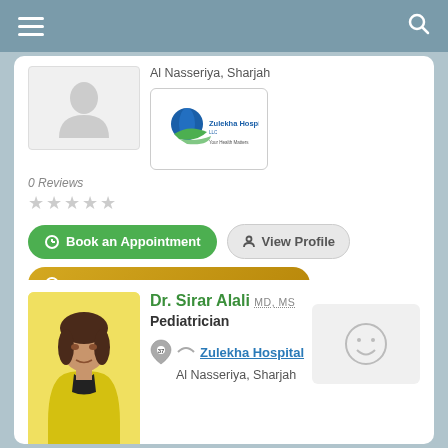Al Nasseriya, Sharjah
[Figure (logo): Zulekha Hospital logo with tagline Your Health Matters]
0 Reviews
★★★★★
Book an Appointment
View Profile
Request your telehealth consultation
Dr. Sirar Alali MD, MS
Pediatrician
Zulekha Hospital
Al Nasseriya, Sharjah
0 Reviews
★★★★★